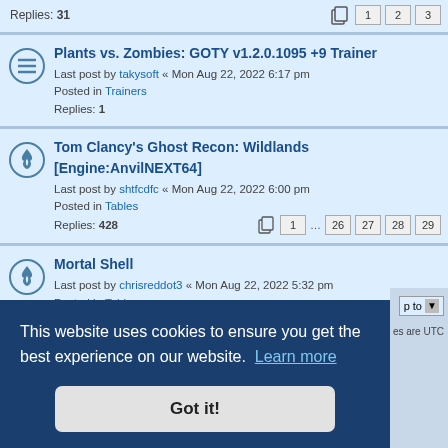Replies: 31
Plants vs. Zombies: GOTY v1.2.0.1095 +9 Trainer
Last post by takysoft « Mon Aug 22, 2022 6:17 pm
Posted in Trainers
Replies: 1
Tom Clancy's Ghost Recon: Wildlands [Engine:AnvilNEXT64]
Last post by shtfcdfc « Mon Aug 22, 2022 6:00 pm
Posted in Tables
Replies: 428
Mortal Shell
Last post by chrisreddot3 « Mon Aug 22, 2022 5:32 pm
Posted in Tables
Replies: 58
F1 22 - 1.09 [RELEASE]
Last post by AlwaysKNL « Mon Aug 22, 2022 5:23 pm
Posted in Tables
This website uses cookies to ensure you get the best experience on our website. Learn more
Got it!